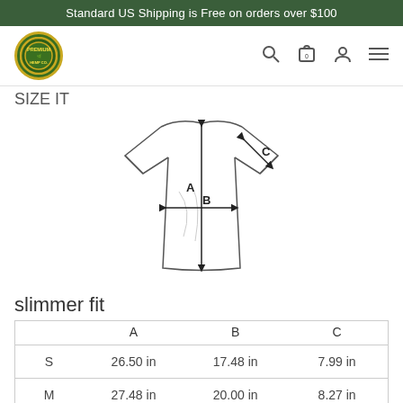Standard US Shipping is Free on orders over $100
[Figure (logo): Circular green and gold Premium brand logo]
SIZE IT
[Figure (illustration): T-shirt measurement diagram showing dimensions A (length), B (width), and C (sleeve length) with arrows]
slimmer fit
|  | A | B | C |
| --- | --- | --- | --- |
| S | 26.50 in | 17.48 in | 7.99 in |
| M | 27.48 in | 20.00 in | 8.27 in |